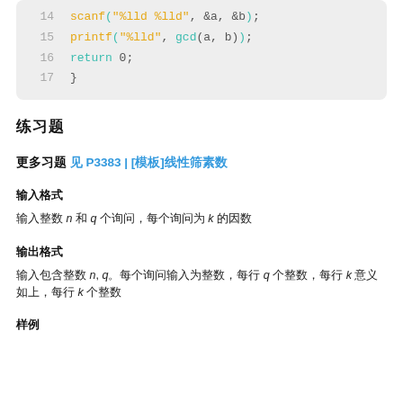[Figure (screenshot): Code block showing lines 14-17 of a C program: scanf, printf with gcd call, return 0, and closing brace.]
练习题
更多习题 见 P3383 | [模板]线性筛素数
输入格式
输入整数 n 和 q 个询问，每个询问为 k 的因数
输出格式
输入包含整数 n, q。每个询问输入为整数，每行 q 个整数，每行 k 意义如上，每行 k 个整数
样例